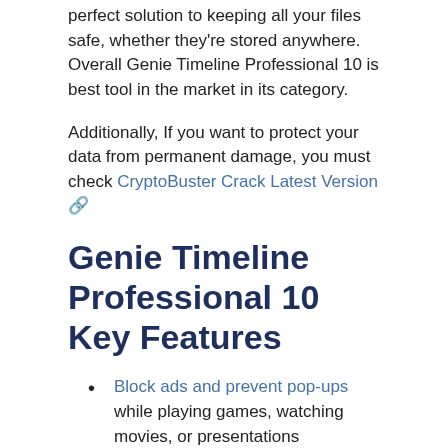perfect solution to keeping all your files safe, whether they're stored anywhere. Overall Genie Timeline Professional 10 is best tool in the market in its category.
Additionally, If you want to protect your data from permanent damage, you must check CryptoBuster Crack Latest Version 🔗
Genie Timeline Professional 10 Key Features
Block ads and prevent pop-ups while playing games, watching movies, or presentations
Enhanced processing for faster block level